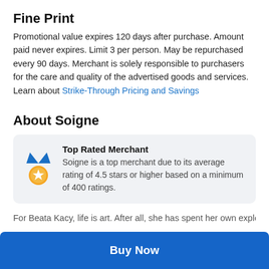Fine Print
Promotional value expires 120 days after purchase. Amount paid never expires. Limit 3 per person. May be repurchased every 90 days. Merchant is solely responsible to purchasers for the care and quality of the advertised goods and services. Learn about Strike-Through Pricing and Savings
About Soigne
Top Rated Merchant
Soigne is a top merchant due to its average rating of 4.5 stars or higher based on a minimum of 400 ratings.
For Beata Kacy, life is art. After all, she has spent her own exploring
Buy Now